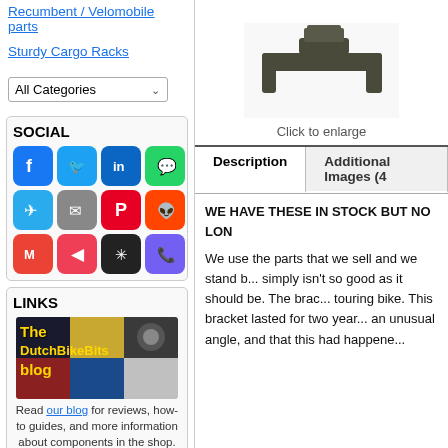Recumbent / Velomobile parts
Sturdy Cargo Racks
All Categories (dropdown)
SOCIAL
[Figure (screenshot): Social media sharing icons: Facebook, Twitter, LinkedIn, WhatsApp, Telegram, Email, Pinterest, Reddit, Gmail, Pocket, Pinwheel, Viber]
LINKS
[Figure (photo): The DutchBikeBits blog image collage with yellow text overlay]
Read our blog for reviews, how-to guides, and more information about components in the shop.
[Figure (photo): Product image - dark colored bracket/clamp component, click to enlarge]
Click to enlarge
Description | Additional Images (4...
WE HAVE THESE IN STOCK BUT NO LON...
We use the parts that we sell and we stand b... simply isn't so good as it should be. The brac... touring bike. This bracket lasted for two year... an unusual angle, and that this had happene...